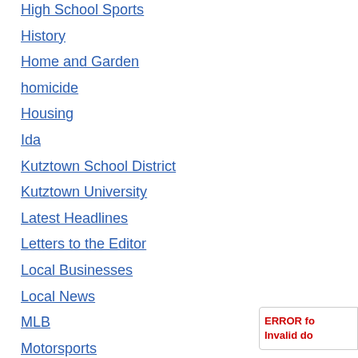High School Sports
History
Home and Garden
homicide
Housing
Ida
Kutztown School District
Kutztown University
Latest Headlines
Letters to the Editor
Local Businesses
Local News
MLB
Motorsports
Muhlenberg School District
National News